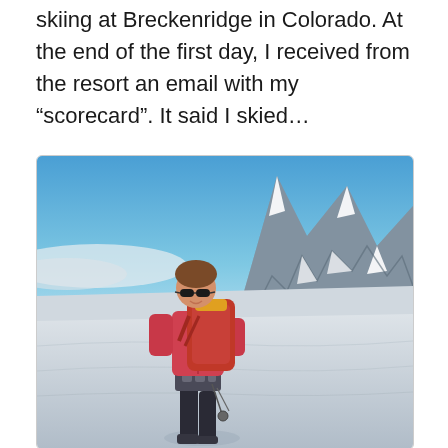skiing at Breckenridge in Colorado. At the end of the first day, I received from the resort an email with my “scorecard”. It said I skied…
[Figure (photo): A person in a red jacket and hiking gear with a large backpack standing on a snowy mountain summit, with dramatic rocky snow-covered peaks and blue sky in the background.]